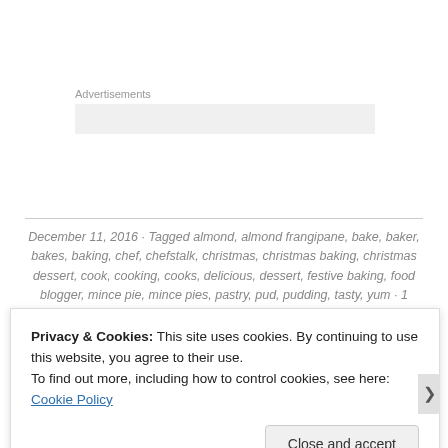Advertisements
December 11, 2016 · Tagged almond, almond frangipane, bake, baker, bakes, baking, chef, chefstalk, christmas, christmas baking, christmas dessert, cook, cooking, cooks, delicious, dessert, festive baking, food blogger, mince pie, mince pies, pastry, pud, pudding, tasty, yum · 1 Comment
Privacy & Cookies: This site uses cookies. By continuing to use this website, you agree to their use.
To find out more, including how to control cookies, see here: Cookie Policy